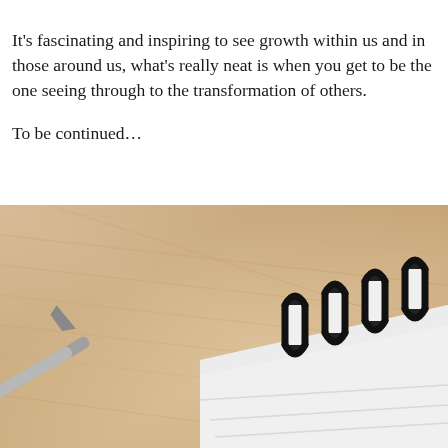It's fascinating and inspiring to see growth within us and in those around us, what's really neat is when you get to be the one seeing through to the transformation of others.

To be continued…
[Figure (photo): Close-up photo of a spiral-bound notebook with black metal coil rings and a pen on a light wood surface]